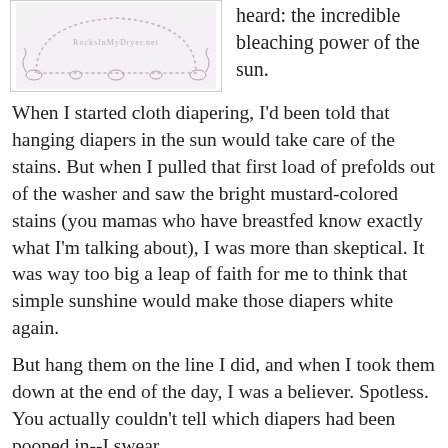[Figure (illustration): A decorative illustration showing a crown or diaper shape with ornamental flourishes and the watermark text 'RocksInMyDryerNet']
heard: the incredible bleaching power of the sun.
When I started cloth diapering, I'd been told that hanging diapers in the sun would take care of the stains. But when I pulled that first load of prefolds out of the washer and saw the bright mustard-colored stains (you mamas who have breastfed know exactly what I'm talking about), I was more than skeptical. It was way too big a leap of faith for me to think that simple sunshine would make those diapers white again.
But hang them on the line I did, and when I took them down at the end of the day, I was a believer. Spotless. You actually couldn't tell which diapers had been pooped in--I swear.
I don't know how well it works on formula-fed babies' poop, or on other kinds of stains. But I can absolutely vouch for the effectiveness of sunshine when it comes to breastfed poo. That stuff does NOT come out in the wash, and I've heard many a mama talk of throwing away a favorite outfit after she thought it was ruined by a blowout. No more! It doesn't just